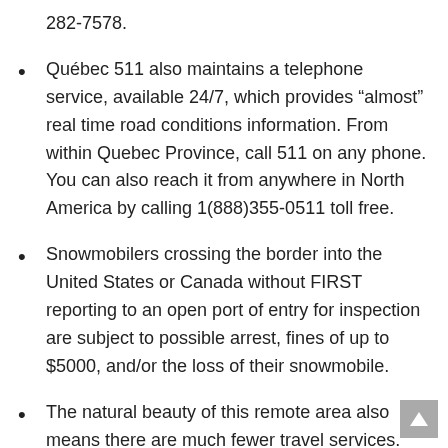282-7578.
Québec 511 also maintains a telephone service, available 24/7, which provides “almost” real time road conditions information. From within Quebec Province, call 511 on any phone. You can also reach it from anywhere in North America by calling 1(888)355-0511 toll free.
Snowmobilers crossing the border into the United States or Canada without FIRST reporting to an open port of entry for inspection are subject to possible arrest, fines of up to $5000, and/or the loss of their snowmobile.
The natural beauty of this remote area also means there are much fewer travel services. Make sure you keep track of the weather, fill up your gas tank at all major towns, and carry an emergency road kit.